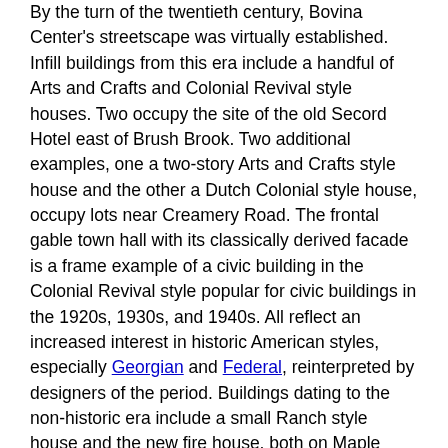By the turn of the twentieth century, Bovina Center's streetscape was virtually established. Infill buildings from this era include a handful of Arts and Crafts and Colonial Revival style houses. Two occupy the site of the old Secord Hotel east of Brush Brook. Two additional examples, one a two-story Arts and Crafts style house and the other a Dutch Colonial style house, occupy lots near Creamery Road. The frontal gable town hall with its classically derived facade is a frame example of a civic building in the Colonial Revival style popular for civic buildings in the 1920s, 1930s, and 1940s. All reflect an increased interest in historic American styles, especially Georgian and Federal, reinterpreted by designers of the period. Buildings dating to the non-historic era include a small Ranch style house and the new fire house, both on Maple Street.
Bovina Center is one of Delaware County's most distinctive and intact hamlets. Situated in the valley of